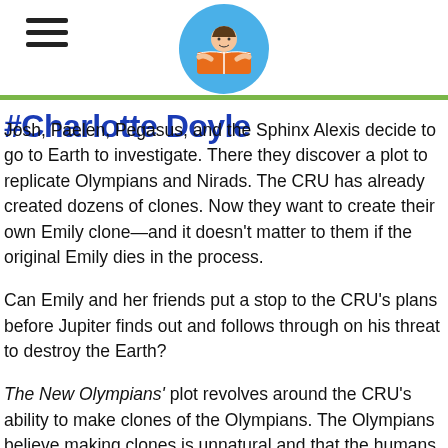Charlotte Doyle [site header with logo and hamburger menu]
Josh, Paelen, Pegasus, and the Sphinx Alexis decide to go to Earth to investigate. There they discover a plot to replicate Olympians and Nirads. The CRU has already created dozens of clones. Now they want to create their own Emily clone—and it doesn't matter to them if the original Emily dies in the process.
Can Emily and her friends put a stop to the CRU's plans before Jupiter finds out and follows through on his threat to destroy the Earth?
The New Olympians' plot revolves around the CRU's ability to make clones of the Olympians. The Olympians believe making clones is unnatural and that the humans must be stopped. Emily's thoughts, the descriptions of the clones, and the Olympian's views all reinforce the idea that making clones is